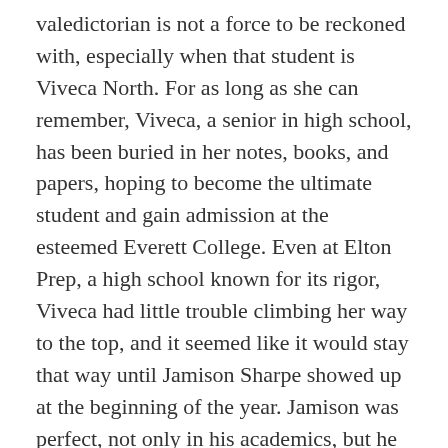valedictorian is not a force to be reckoned with, especially when that student is Viveca North. For as long as she can remember, Viveca, a senior in high school, has been buried in her notes, books, and papers, hoping to become the ultimate student and gain admission at the esteemed Everett College. Even at Elton Prep, a high school known for its rigor, Viveca had little trouble climbing her way to the top, and it seemed like it would stay that way until Jamison Sharpe showed up at the beginning of the year. Jamison was perfect, not only in his academics, but he was talented, charming, kind, and most importantly, sociable. It was almost as if Jamison was identical to Viveca, but had somehow found a way to be better. Jamison was not a threat to Viveca at first; all she had to do was to keep acing her classes, just like she had always done. However,